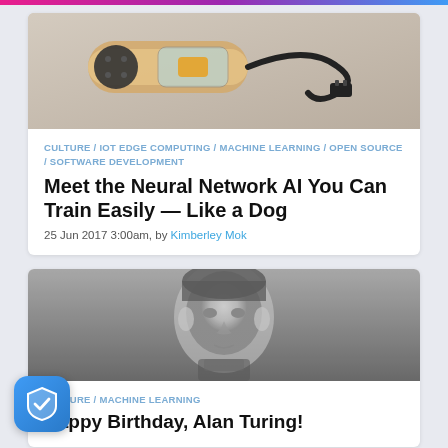[Figure (photo): Photo of a wooden cylindrical device with electronic components and a power cord/plug on a light background]
CULTURE / IOT EDGE COMPUTING / MACHINE LEARNING / OPEN SOURCE / SOFTWARE DEVELOPMENT
Meet the Neural Network AI You Can Train Easily — Like a Dog
25 Jun 2017 3:00am, by Kimberley Mok
[Figure (photo): Black and white portrait photograph of Alan Turing as a young man]
CULTURE / MACHINE LEARNING
Happy Birthday, Alan Turing!
[Figure (logo): Security shield icon with checkmark, blue gradient rounded square badge]